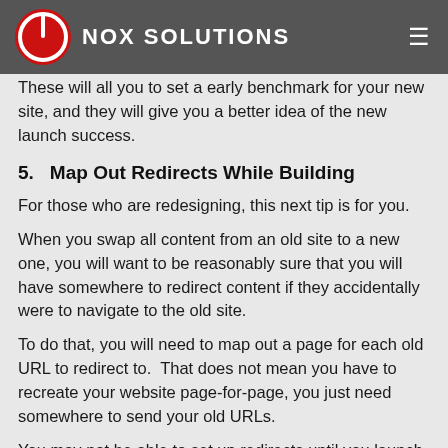NOX SOLUTIONS
These will all you to set a early benchmark for your new site, and they will give you a better idea of the new launch success.
5.   Map Out Redirects While Building
For those who are redesigning, this next tip is for you.
When you swap all content from an old site to a new one, you will want to be reasonably sure that you will have somewhere to redirect content if they accidentally were to navigate to the old site.
To do that, you will need to map out a page for each old URL to redirect to.  That does not mean you have to recreate your website page-for-page, you just need somewhere to send your old URLs.
You may not be able to set up redirects until you launch your new site; it is best to have a plan in place while you